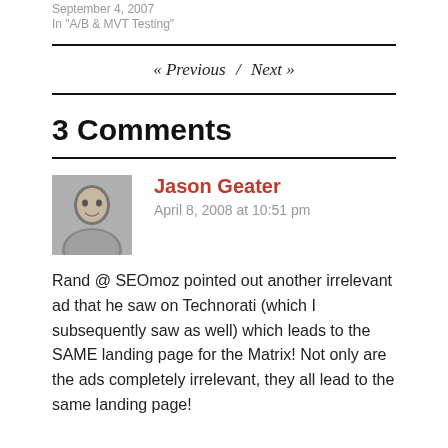September 4, 2007
In "A/B & MVT Testing"
« Previous / Next »
3 Comments
Jason Geater
April 8, 2008 at 10:51 pm
Rand @ SEOmoz pointed out another irrelevant ad that he saw on Technorati (which I subsequently saw as well) which leads to the SAME landing page for the Matrix! Not only are the ads completely irrelevant, they all lead to the same landing page!